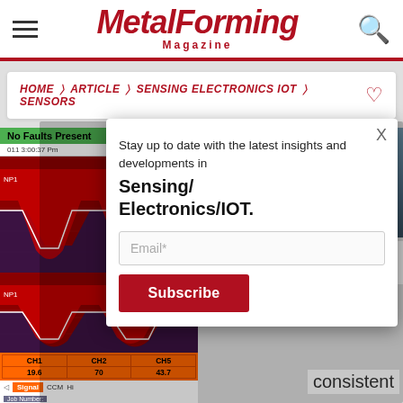MetalForming Magazine
HOME > ARTICLE > SENSING ELECTRONICS IOT > SENSORS
[Figure (screenshot): Diagnostic waveform display showing CH2 and CH4 channels with red waveform traces, orange data table rows, and Signal/CCM buttons. Shows 'No Faults Present' status bar in green, timestamp 2011 3:00:37 PM, and job number/name fields at bottom.]
[Figure (photo): Headshot photo of Marc Williams, a man in a dark suit and tie, smiling, shown from chest up against a neutral background.]
MARC WILLIAMS
IOT Project Lead
Stay up to date with the latest insights and developments in Sensing/Electronics/IOT.
Email*
Subscribe
consistent